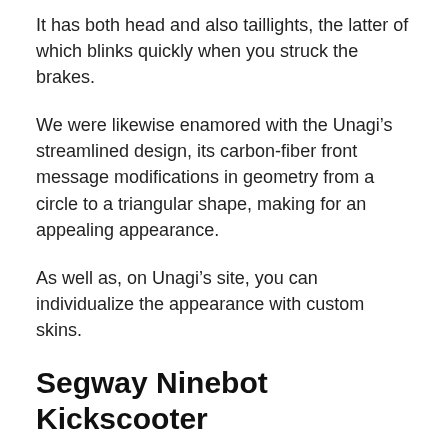It has both head and also taillights, the latter of which blinks quickly when you struck the brakes.
We were likewise enamored with the Unagi’s streamlined design, its carbon-fiber front message modifications in geometry from a circle to a triangular shape, making for an appealing appearance.
As well as, on Unagi’s site, you can individualize the appearance with custom skins.
Segway Ninebot Kickscooter
The Segway Ninebot Kickscooter Max is hefty and also huge, greater than 40 pounds, yet it’s